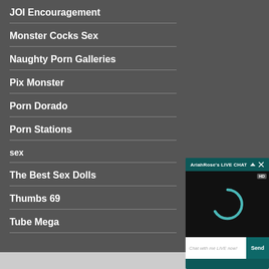JOI Encouragement
Monster Cocks Sex
Naughty Porn Galleries
Pix Monster
Porn Dorado
Porn Stations
sex
The Best Sex Dolls
Thumbs 69
Tube Mega
[Figure (screenshot): Live chat popup overlay titled AriahRose's LIVE CHAT with a dark video area showing a teal loading spinner, an HD badge, and a chat input bar with placeholder 'Chat with me LIVE now!' and a Send button.]